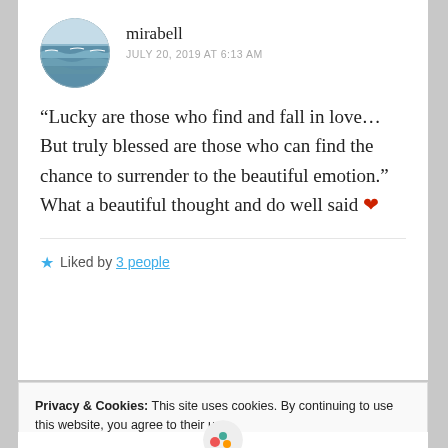[Figure (photo): Circular avatar image showing ocean waves]
mirabell
JULY 20, 2019 AT 6:13 AM
“Lucky are those who find and fall in love… But truly blessed are those who can find the chance to surrender to the beautiful emotion.” What a beautiful thought and do well said ❤
Liked by 3 people
Privacy & Cookies: This site uses cookies. By continuing to use this website, you agree to their use.
To find out more, including how to control cookies, see here: Cookie Policy